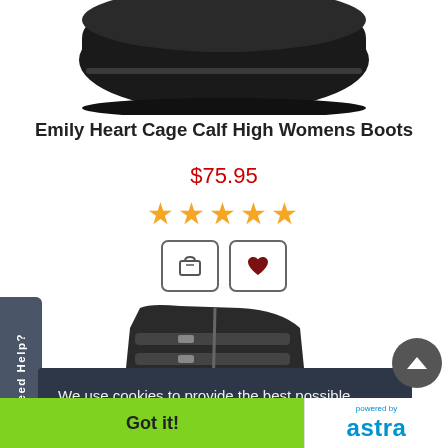[Figure (photo): Black platform boots / sole top view, cropped at top of page]
Emily Heart Cage Calf High Womens Boots
$75.95
[Figure (other): Five gold star rating icons]
[Figure (other): Add to cart button (cart icon) and wishlist button (heart icon)]
[Figure (photo): Black ankle boot with buckle straps, cropped image]
Need Help?
We use cookies to provide the best possible shopping experience. Don't want them? Call in your order US Toll Free 877-822-3318.
Learn more
Got it!
powered by astra